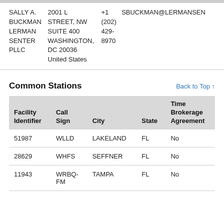|  |  |  |  |
| --- | --- | --- | --- |
| SALLY A. BUCKMAN LERMAN SENTER PLLC | 2001 L STREET, NW SUITE 400 WASHINGTON, DC 20036 United States | +1 (202) 429- 8970 | SBUCKMAN@LERMANSEN |
Common Stations
Back to Top ↑
| Facility Identifier | Call Sign | City | State | Time Brokerage Agreement |
| --- | --- | --- | --- | --- |
| 51987 | WLLD | LAKELAND | FL | No |
| 28629 | WHFS | SEFFNER | FL | No |
| 11943 | WRBQ-FM | TAMPA | FL | No |